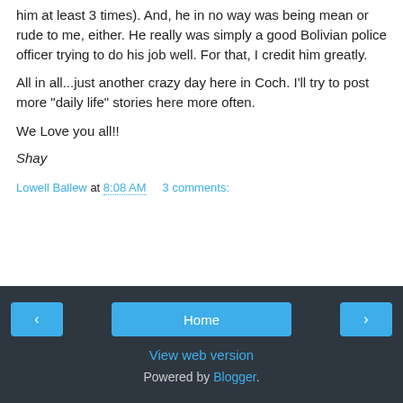him at least 3 times). And, he in no way was being mean or rude to me, either. He really was simply a good Bolivian police officer trying to do his job well. For that, I credit him greatly.
All in all...just another crazy day here in Coch. I'll try to post more "daily life" stories here more often.
We Love you all!!
Shay
Lowell Ballew at 8:08 AM   3 comments:
Home | View web version | Powered by Blogger.